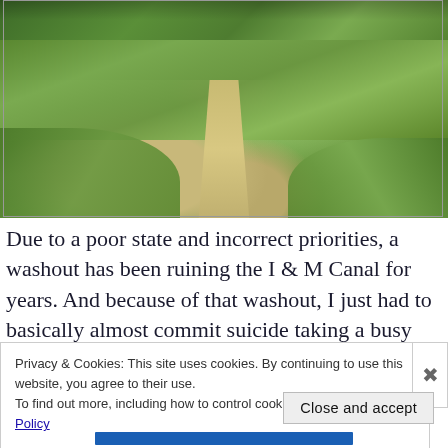[Figure (photo): A gravel path or trail running through lush green vegetation, with grass and plants growing on both sides. The path appears to lead into trees and dense greenery. Photo taken outdoors in natural light.]
Due to a poor state and incorrect priorities, a washout has been ruining the I & M Canal for years. And because of that washout, I just had to basically almost commit suicide taking a busy Dee Bennett speedway to surpass the stupid washout.
Privacy & Cookies: This site uses cookies. By continuing to use this website, you agree to their use.
To find out more, including how to control cookies, see here: Cookie Policy
Close and accept